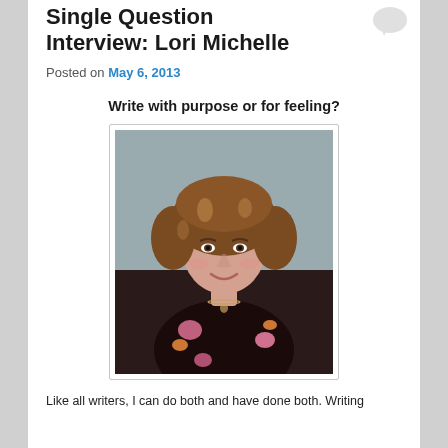Single Question Interview: Lori Michelle
Posted on May 6, 2013
Write with purpose or for feeling?
[Figure (photo): Portrait photo of Lori Michelle, a woman with curly brown and blonde hair, wearing a floral dress with black, pink, and orange flowers, and a necklace.]
Like all writers, I can do both and have done both. Writing